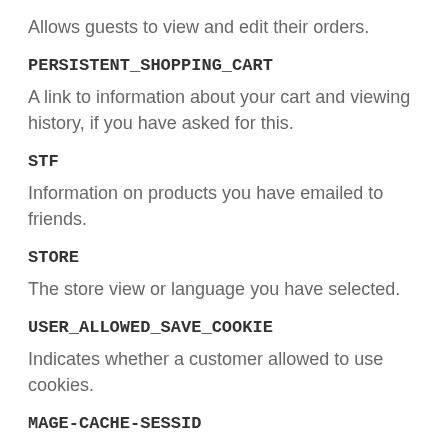Allows guests to view and edit their orders.
PERSISTENT_SHOPPING_CART
A link to information about your cart and viewing history, if you have asked for this.
STF
Information on products you have emailed to friends.
STORE
The store view or language you have selected.
USER_ALLOWED_SAVE_COOKIE
Indicates whether a customer allowed to use cookies.
MAGE-CACHE-SESSID
Facilitates caching of content on the browser to